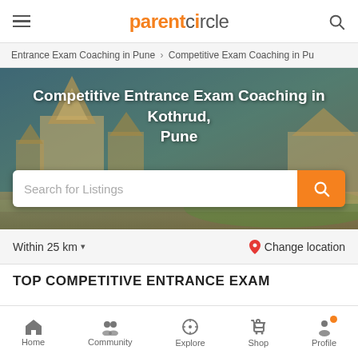parentcircle
Entrance Exam Coaching in Pune > Competitive Exam Coaching in Pu
Competitive Entrance Exam Coaching in Kothrud, Pune
Search for Listings
Within 25 km ▾   📍 Change location
TOP COMPETITIVE ENTRANCE EXAM
Home  Community  Explore  Shop  Profile